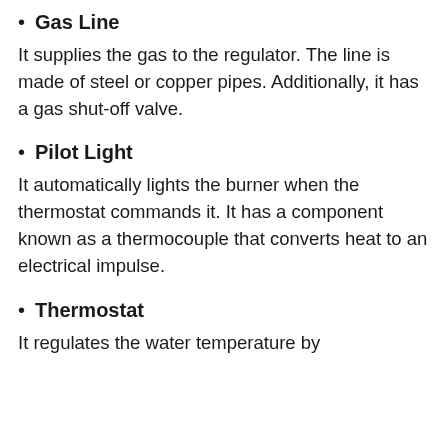Gas Line
It supplies the gas to the regulator. The line is made of steel or copper pipes. Additionally, it has a gas shut-off valve.
Pilot Light
It automatically lights the burner when the thermostat commands it. It has a component known as a thermocouple that converts heat to an electrical impulse.
Thermostat
It regulates the water temperature by